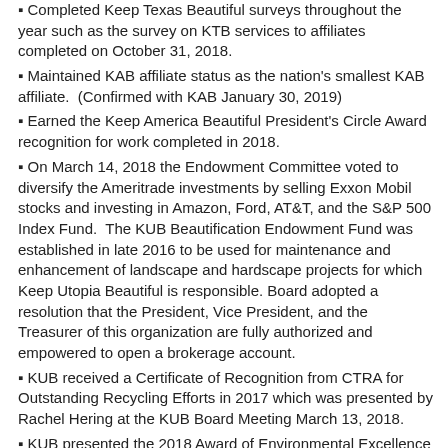Completed Keep Texas Beautiful surveys throughout the year such as the survey on KTB services to affiliates completed on October 31, 2018.
Maintained KAB affiliate status as the nation's smallest KAB affiliate. (Confirmed with KAB January 30, 2019)
Earned the Keep America Beautiful President's Circle Award recognition for work completed in 2018.
On March 14, 2018 the Endowment Committee voted to diversify the Ameritrade investments by selling Exxon Mobil stocks and investing in Amazon, Ford, AT&T, and the S&P 500 Index Fund. The KUB Beautification Endowment Fund was established in late 2016 to be used for maintenance and enhancement of landscape and hardscape projects for which Keep Utopia Beautiful is responsible. Board adopted a resolution that the President, Vice President, and the Treasurer of this organization are fully authorized and empowered to open a brokerage account.
KUB received a Certificate of Recognition from CTRA for Outstanding Recycling Efforts in 2017 which was presented by Rachel Hering at the KUB Board Meeting March 13, 2018.
KUB presented the 2018 Award of Environmental Excellence to Billie Nast for her work with the school garden and a blackhaw tree was